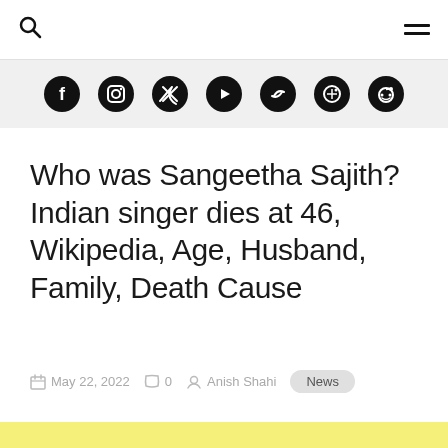Search | Menu
[Figure (infographic): Social media icon bar with Facebook, Instagram, Twitter, YouTube, Link, Pinterest, Reddit icons]
Who was Sangeetha Sajith? Indian singer dies at 46, Wikipedia, Age, Husband, Family, Death Cause
May 22, 2022  0  Anish Shahi  News
[Figure (other): Yellow advertisement banner with close button]